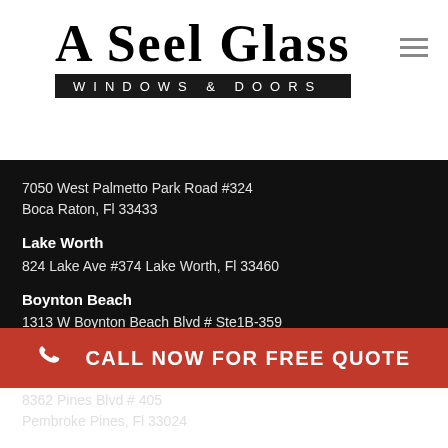[Figure (logo): A Seel Glass Windows & Doors logo — large serif text 'A Seel Glass' above a black bar reading 'WINDOWS & DOORS' in spaced uppercase sans-serif white text]
7050 West Palmetto Park Road #324
Boca Raton, Fl 33433
Lake Worth
824 Lake Ave #374 Lake Worth, Fl 33460
Boynton Beach
1313 W Boynton Beach Blvd # Ste1B-359
Boynton Beach, Fl 33426
Pembroke Pines
8362 Pines Blvd # 405
Pembroke Pines, Fl 33024
CALL NOW FOR FREE QUOTE